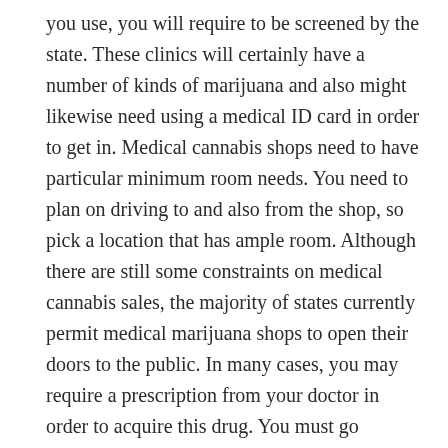you use, you will require to be screened by the state. These clinics will certainly have a number of kinds of marijuana and also might likewise need using a medical ID card in order to get in. Medical cannabis shops need to have particular minimum room needs. You need to plan on driving to and also from the shop, so pick a location that has ample room. Although there are still some constraints on medical cannabis sales, the majority of states currently permit medical marijuana shops to open their doors to the public. In many cases, you may require a prescription from your doctor in order to acquire this drug. You must go through the same testing process as other clinical marijuana stores. Even if you are authorized to buy marijuana, you might need to pay a high cost for the product. There are several advantages to making use of marijuana joint or cannabis club. Many individuals utilize the medication recreationally or for medical factors. The